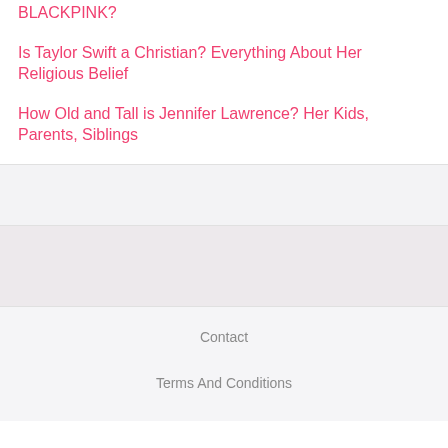BLACKPINK?
Is Taylor Swift a Christian? Everything About Her Religious Belief
How Old and Tall is Jennifer Lawrence? Her Kids, Parents, Siblings
Contact
Terms And Conditions